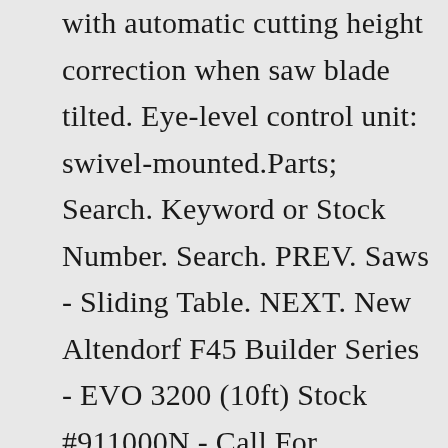with automatic cutting height correction when saw blade tilted. Eye-level control unit: swivel-mounted.Parts; Search. Keyword or Stock Number. Search. PREV. Saws - Sliding Table. NEXT. New Altendorf F45 Builder Series - EVO 3200 (10ft) Stock #911000N - Call For ... Altendorf spare parts hotline: 0571 9550 222. The all new F45 Series lets you call the shots. Build your own original F45 Custom just the way you'd like. With a large